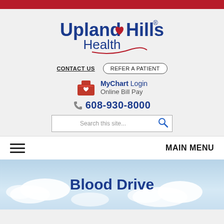[Figure (logo): Upland Hills Health logo with red heart and decorative swash]
CONTACT US
REFER A PATIENT
MyChart Login
Online Bill Pay
608-930-8000
Search this site...
MAIN MENU
Blood Drive